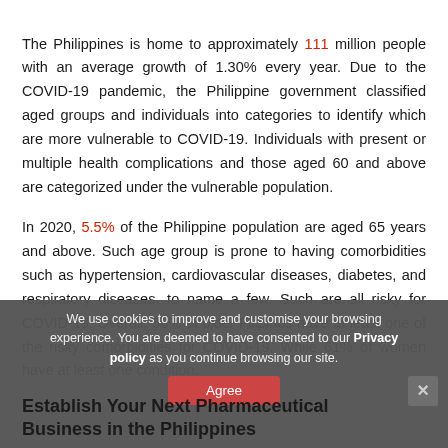The Philippines is home to approximately 111 million people with an average growth of 1.30% every year. Due to the COVID-19 pandemic, the Philippine government classified aged groups and individuals into categories to identify which are more vulnerable to COVID-19. Individuals with present or multiple health complications and those aged 60 and above are categorized under the vulnerable population.
In 2020, 5.5% of the Philippine population are aged 65 years and above. Such age group is prone to having comorbidities such as hypertension, cardiovascular diseases, diabetes, and respiratory diseases, to name a few. Such are all risky for COVID-19. Overall, 58% of older Filipinos have at least one of the risky comorbidities for COVID-19. While 61% of women have at least one condition.
Establish Your Next Pharmaceutical Business in the Philippines
We use cookies to improve and customise your browsing experience. You are deemed to have consented to our Privacy policy as you continue browsing our site.